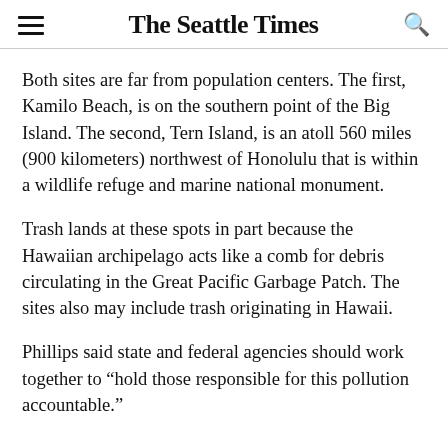The Seattle Times
Both sites are far from population centers. The first, Kamilo Beach, is on the southern point of the Big Island. The second, Tern Island, is an atoll 560 miles (900 kilometers) northwest of Honolulu that is within a wildlife refuge and marine national monument.
Trash lands at these spots in part because the Hawaiian archipelago acts like a comb for debris circulating in the Great Pacific Garbage Patch. The sites also may include trash originating in Hawaii.
Phillips said state and federal agencies should work together to “hold those responsible for this pollution accountable.”